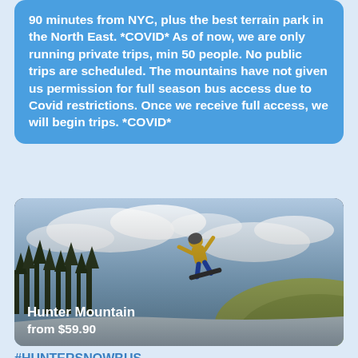90 minutes from NYC, plus the best terrain park in the North East. *COVID* As of now, we are only running private trips, min 50 people. No public trips are scheduled. The mountains have not given us permission for full season bus access due to Covid restrictions. Once we receive full access, we will begin trips. *COVID*
[Figure (photo): A snowboarder performing a jump trick in the air against a cloudy sky, with forested hills and a snowy slope below. Text overlay reads 'Hunter Mountain from $59.90'.]
#HUNTERSNOWBUS